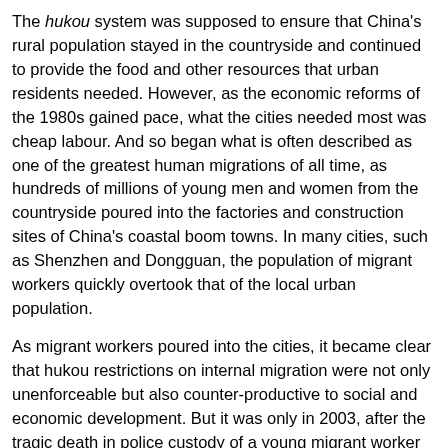The hukou system was supposed to ensure that China's rural population stayed in the countryside and continued to provide the food and other resources that urban residents needed. However, as the economic reforms of the 1980s gained pace, what the cities needed most was cheap labour. And so began what is often described as one of the greatest human migrations of all time, as hundreds of millions of young men and women from the countryside poured into the factories and construction sites of China's coastal boom towns. In many cities, such as Shenzhen and Dongguan, the population of migrant workers quickly overtook that of the local urban population.
As migrant workers poured into the cities, it became clear that hukou restrictions on internal migration were not only unenforceable but also counter-productive to social and economic development. But it was only in 2003, after the tragic death in police custody of a young migrant worker named Sun Zhigang that the barriers to migration started to come down. Sun had been detained by police in Guangzhou simply because he did not have a temporary resident permit as required by law. The public outcry at Sun's death led to the abolition of many of the most egregious restrictions on the freedom of movement in place at the time. In many smaller cities, hukou restrictions have gradually been dismantled, but the system itself is still very much in place. Indeed, as the urban population continues to grow, the authorities in major cities